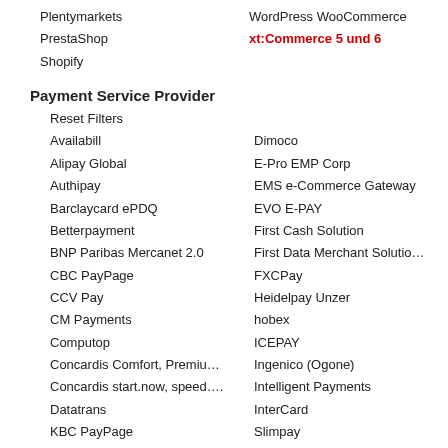Plentymarkets
WordPress WooCommerce
PrestaShop
xt:Commerce 5 und 6
Shopify
Payment Service Provider
Reset Filters
Availabill
Dimoco
Alipay Global
E-Pro EMP Corp
Authipay
EMS e-Commerce Gateway
Barclaycard ePDQ
EVO E-PAY
Betterpayment
First Cash Solution
BNP Paribas Mercanet 2.0
First Data Merchant Solutio…
CBC PayPage
FXCPay
CCV Pay
Heidelpay Unzer
CM Payments
hobex
Computop
ICEPAY
Concardis Comfort, Premiu…
Ingenico (Ogone)
Concardis start.now, speed….
Intelligent Payments
Datatrans
InterCard
KBC PayPage
Slimpay
Lloyds Cardnet
Sogenactif 2.0
mPAY24
Sofort